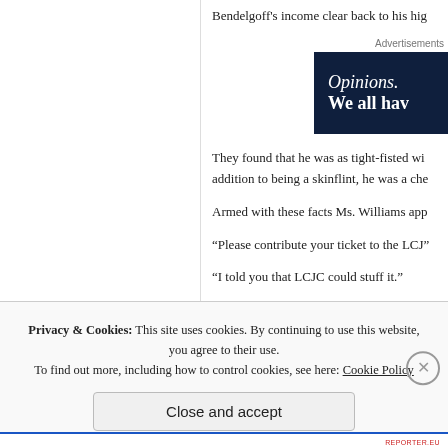Bendelgoff's income clear back to his hig
Advertisements
[Figure (screenshot): Dark navy advertisement box with text: 'Opinions. We all hav']
They found that he was as tight-fisted wi addition to being a skinflint, he was a che
Armed with these facts Ms. Williams app
“Please contribute your ticket to the LCJ”
“I told you that LCJC could stuff it.”
“You might want to look at this.”  she han
Privacy & Cookies: This site uses cookies. By continuing to use this website, you agree to their use.
To find out more, including how to control cookies, see here: Cookie Policy
Close and accept